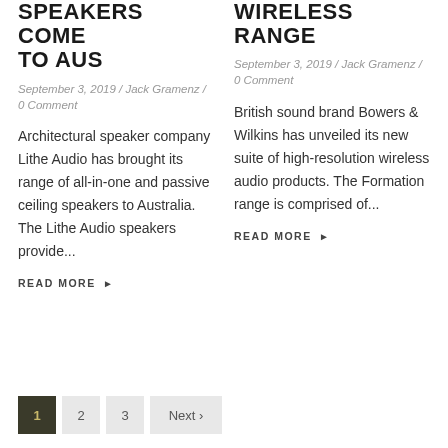SPEAKERS COME TO AUS
September 3, 2019 / Jack Gramenz / 0 Comment
Architectural speaker company Lithe Audio has brought its range of all-in-one and passive ceiling speakers to Australia. The Lithe Audio speakers provide...
READ MORE ▸
WIRELESS RANGE
September 3, 2019 / Jack Gramenz / 0 Comment
British sound brand Bowers & Wilkins has unveiled its new suite of high-resolution wireless audio products. The Formation range is comprised of...
READ MORE ▸
1  2  3  Next ›